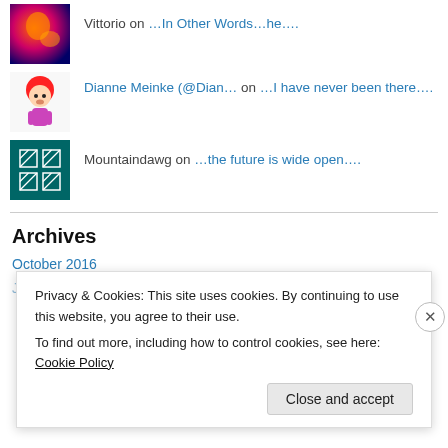Vittorio on …In Other Words…he….
Dianne Meinke (@Dian… on …I have never been there….
Mountaindawg on …the future is wide open….
Archives
October 2016
Privacy & Cookies: This site uses cookies. By continuing to use this website, you agree to their use.
To find out more, including how to control cookies, see here: Cookie Policy
Close and accept